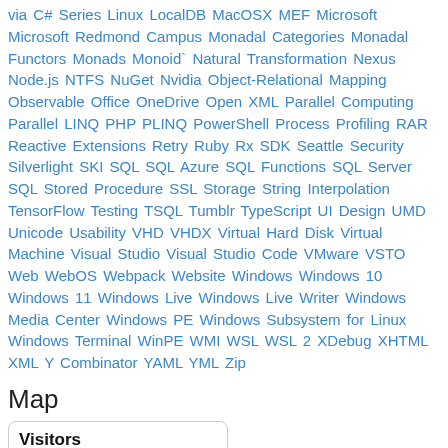via C# Series Linux LocalDB MacOSX MEF Microsoft Microsoft Redmond Campus Monadal Categories Monadal Functors Monads Monoid` Natural Transformation Nexus Node.js NTFS NuGet Nvidia Object-Relational Mapping Observable Office OneDrive Open XML Parallel Computing Parallel LINQ PHP PLINQ PowerShell Process Profiling RAR Reactive Extensions Retry Ruby Rx SDK Seattle Security Silverlight SKI SQL SQL Azure SQL Functions SQL Server SQL Stored Procedure SSL Storage String Interpolation TensorFlow Testing TSQL Tumblr TypeScript UI Design UMD Unicode Usability VHD VHDX Virtual Hard Disk Virtual Machine Visual Studio Visual Studio Code VMware VSTO Web WebOS Webpack Website Windows Windows 10 Windows 11 Windows Live Windows Live Writer Windows Media Center Windows PE Windows Subsystem for Linux Windows Terminal WinPE WMI WSL WSL 2 XDebug XHTML XML Y Combinator YAML YML Zip
Map
| Flag | Visitors | Flag | Visitors |
| --- | --- | --- | --- |
| 🇺🇸 | 58,812 | 🇵🇱 | 6,157 |
| 🇮🇳 | 31,340 | 🇳🇱 | 6,091 |
| 🇬🇧 | 15,988 | 🇻🇳 | 6,008 |